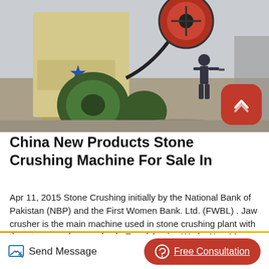[Figure (photo): Industrial stone crushing machine, large green flywheel in foreground, yellow/beige machine body with star logo and phone number (0371-660), worker in background shoveling material, outdoor industrial site]
China New Products Stone Crushing Machine For Sale In
Apr 11, 2015 Stone Crushing initially by the National Bank of Pakistan (NBP) and the First Women Bank. Ltd. (FWBL) . Jaw crusher is the main machine used in stone crushing plant with the. stone crusher used sale Equal Justice Works Nov 11, 2014 Used stone crusher plant for sale launched by Zenith includes...